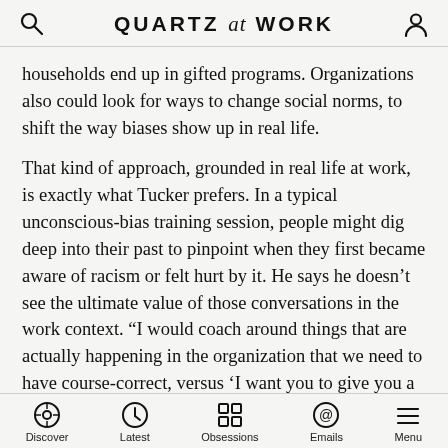QUARTZ at WORK
households end up in gifted programs. Organizations also could look for ways to change social norms, to shift the way biases show up in real life.
That kind of approach, grounded in real life at work, is exactly what Tucker prefers. In a typical unconscious-bias training session, people might dig deep into their past to pinpoint when they first became aware of racism or felt hurt by it. He says he doesn’t see the ultimate value of those conversations in the work context. “I would coach around things that are actually happening in the organization that we need to have course-correct, versus ‘I want you to give you a time when you were five years old and someone didn’t treat you right and hold hands and be nice to each other,’” he says.
Discover  Latest  Obsessions  Emails  Menu